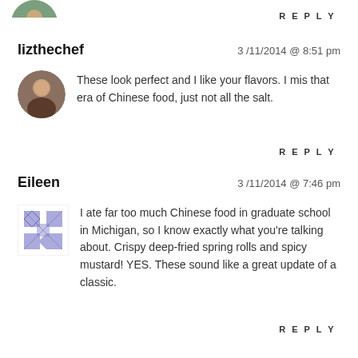[Figure (photo): Partial avatar image at top of page, cut off]
REPLY
lizthechef    3/11/2014 @ 8:51 pm
[Figure (photo): Circular avatar photo of a woman with short hair]
These look perfect and I like your flavors. I mis that era of Chinese food, just not all the salt.
REPLY
Eileen    3/11/2014 @ 7:46 pm
[Figure (illustration): Square decorative quilt-like pattern avatar in blue and white]
I ate far too much Chinese food in graduate school in Michigan, so I know exactly what you're talking about. Crispy deep-fried spring rolls and spicy mustard! YES. These sound like a great update of a classic.
REPLY